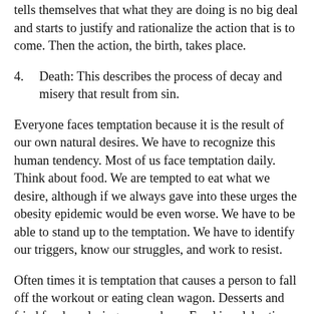4. Death: This describes the process of decay and misery that result from sin.
Everyone faces temptation because it is the result of our own natural desires. We have to recognize this human tendency. Most of us face temptation daily. Think about food. We are tempted to eat what we desire, although if we always gave into these urges the obesity epidemic would be even worse. We have to be able to stand up to the temptation. We have to identify our triggers, know our struggles, and work to resist.
Often times it is temptation that causes a person to fall off the workout or eating clean wagon. Desserts and fried food are luring everywhere. Food is celebration and socially part of meetings, occasions, and lurk at every corner. Act with your intuition and know that these choices have consequences. Find a source of accountability and seek help when needed. Making important lifestyle changes doesn't have to be an isolated experience. You can. You will. And it is going to